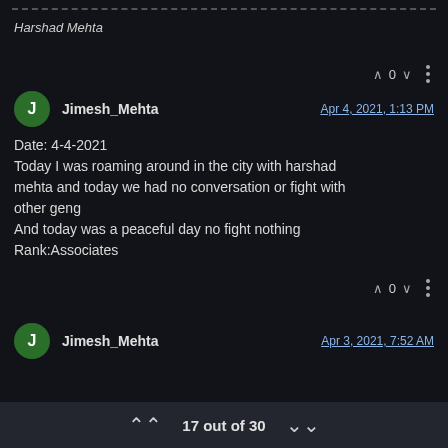Harshad Mehta
Jimesh_Mehta  Apr 4, 2021, 1:13 PM
Date: 4-4-2021
Today I was roaming around in the city with harshad mehta and today we had no conversation or fight with other geng
And today was a peaceful day no fight nothing
Rank:Associates
Jimesh_Mehta  Apr 3, 2021, 7:52 AM
17 out of 30